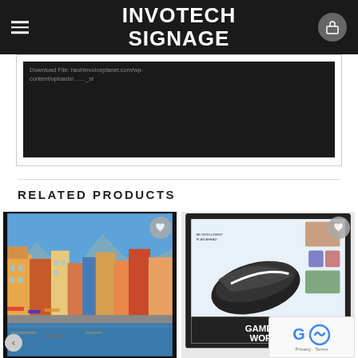INVOTECH SIGNAGE
[Figure (screenshot): Dark banner area showing a URL path for a downloadable file and a dark background media/video embed area]
RELATED PRODUCTS
[Figure (photo): Product image: large display/monitor showing a colorful European canal town with colorful buildings, blue water, and mountains in the background]
[Figure (photo): Product image: digital signage display showing a Nike shoe advertisement with 'GAME ON, WORLD.' text and photo collage]